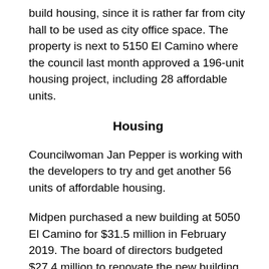build housing, since it is rather far from city hall to be used as city office space. The property is next to 5150 El Camino where the council last month approved a 196-unit housing project, including 28 affordable units.
Housing
Councilwoman Jan Pepper is working with the developers to try and get another 56 units of affordable housing.
Midpen purchased a new building at 5050 El Camino for $31.5 million in February 2019. The board of directors budgeted $27.4 million to renovate the new building.
Midpen spokeswoman Leigh Ann Gessner said the district is trying to offset the cost of the new building...